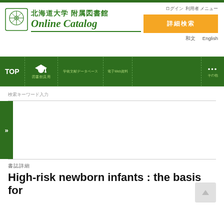北海道大学 附属図書館 Online Catalog
ログイン 利用者 メニュー
詳細検索
和文 English
TOP | 図書館員用 | 学術文献 | 電子Web資料 | その他
検索キーワード入力
»
書誌詳細
High-risk newborn infants : the basis for